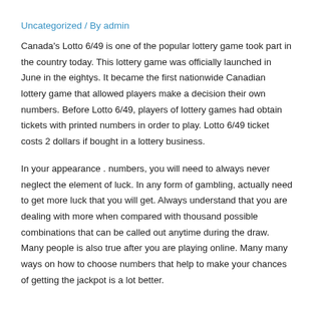Uncategorized / By admin
Canada's Lotto 6/49 is one of the popular lottery game took part in the country today. This lottery game was officially launched in June in the eightys. It became the first nationwide Canadian lottery game that allowed players make a decision their own numbers. Before Lotto 6/49, players of lottery games had obtain tickets with printed numbers in order to play. Lotto 6/49 ticket costs 2 dollars if bought in a lottery business.
In your appearance . numbers, you will need to always never neglect the element of luck. In any form of gambling, actually need to get more luck that you will get. Always understand that you are dealing with more when compared with thousand possible combinations that can be called out anytime during the draw. Many people is also true after you are playing online. Many many ways on how to choose numbers that help to make your chances of getting the jackpot is a lot better.